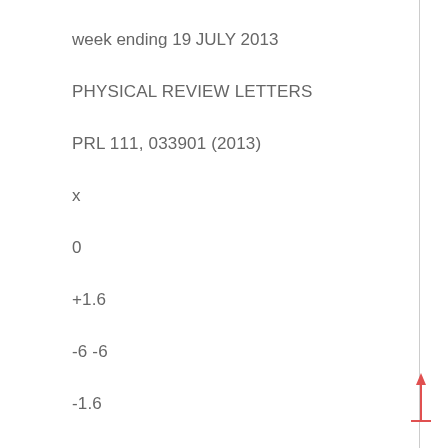week ending 19 JULY 2013
PHYSICAL REVIEW LETTERS
PRL 111, 033901 (2013)
x
0
+1.6
-6 -6
-1.6
0
3
6